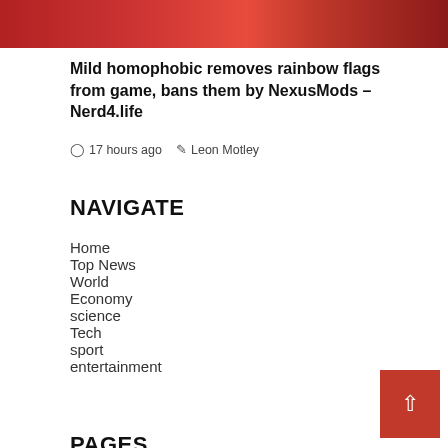[Figure (photo): Partial top image showing Spider-Man costume in red and blue colors]
Mild homophobic removes rainbow flags from game, bans them by NexusMods – Nerd4.life
17 hours ago  Leon Motley
NAVIGATE
Home
Top News
World
Economy
science
Tech
sport
entertainment
PAGES